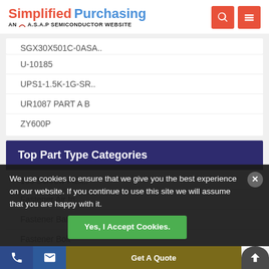Simplified Purchasing — AN A.S.A.P SEMICONDUCTOR WEBSITE
SGX30X501C-0ASA..
U-10185
UPS1-1.5K-1G-SR..
UR1087 PART A B
ZY600P
Top Part Type Categories
100 Schrew Fast..
Fastener Air In..
Fastener Batter..
Fastener Bolt
We use cookies to ensure that we give you the best experience on our website. If you continue to use this site we will assume that you are happy with it.
Yes, I Accept Cookies.